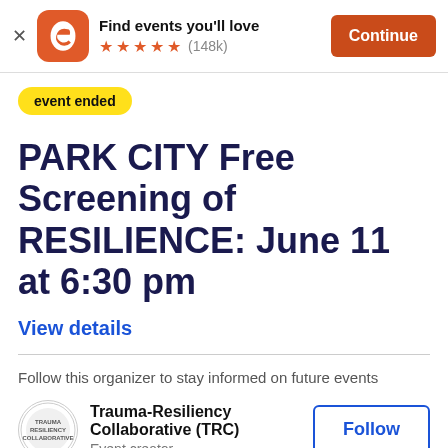Find events you'll love ★★★★★ (148k) Continue
event ended
PARK CITY Free Screening of RESILIENCE: June 11 at 6:30 pm
View details
Follow this organizer to stay informed on future events
Trauma-Resiliency Collaborative (TRC)
Event creator
Follow